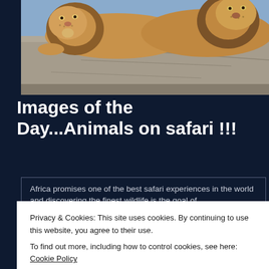[Figure (photo): Two lions resting on a large flat rock, photographed on safari in Africa. The lions are lying down, looking toward the camera, with a blue sky in the background.]
Images of the Day...Animals on safari !!!
Africa promises one of the best safari experiences in the world and discovering the finest wildlife is the goal of...
Privacy & Cookies: This site uses cookies. By continuing to use this website, you agree to their use. To find out more, including how to control cookies, see here: Cookie Policy
Close and accept
this great photo series.